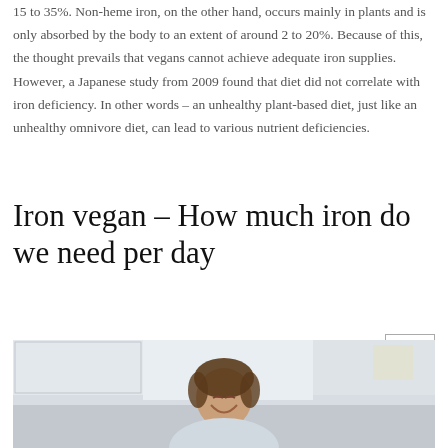15 to 35%. Non-heme iron, on the other hand, occurs mainly in plants and is only absorbed by the body to an extent of around 2 to 20%. Because of this, the thought prevails that vegans cannot achieve adequate iron supplies. However, a Japanese study from 2009 found that diet did not correlate with iron deficiency. In other words – an unhealthy plant-based diet, just like an unhealthy omnivore diet, can lead to various nutrient deficiencies.
Iron vegan – How much iron do we need per day
[Figure (photo): A smiling woman with curly dark hair, photographed in a bright kitchen setting, laughing with eyes closed]